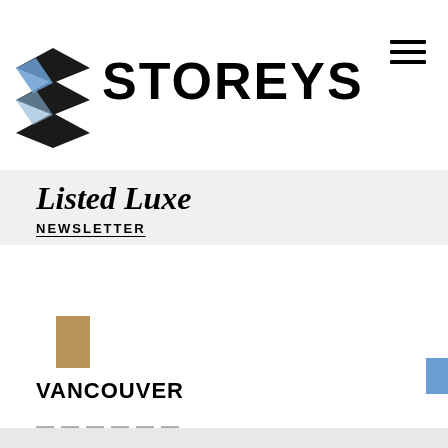[Figure (logo): Storeys logo with geometric layered diamond/rhombus icon in black and blue, and STOREYS wordmark in bold black capital letters]
Listed Luxe
NEWSLETTER
[Figure (photo): Small tan/beige thumbnail image placeholder]
VANCOUVER